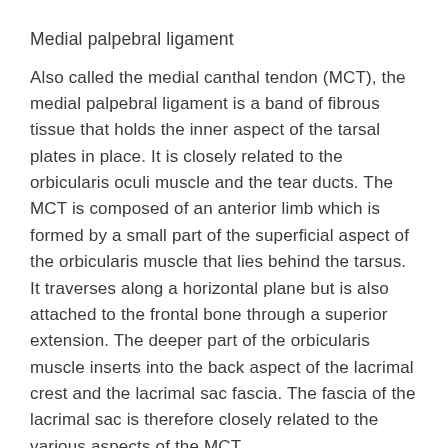Medial palpebral ligament
Also called the medial canthal tendon (MCT), the medial palpebral ligament is a band of fibrous tissue that holds the inner aspect of the tarsal plates in place. It is closely related to the orbicularis oculi muscle and the tear ducts. The MCT is composed of an anterior limb which is formed by a small part of the superficial aspect of the orbicularis muscle that lies behind the tarsus. It traverses along a horizontal plane but is also attached to the frontal bone through a superior extension. The deeper part of the orbicularis muscle inserts into the back aspect of the lacrimal crest and the lacrimal sac fascia. The fascia of the lacrimal sac is therefore closely related to the various aspects of the MCT.